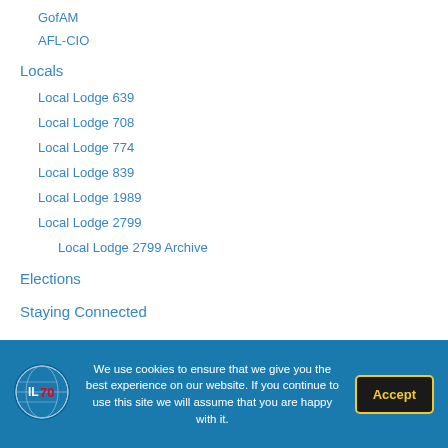GofAM
AFL-CIO
Locals
Local Lodge 639
Local Lodge 708
Local Lodge 774
Local Lodge 839
Local Lodge 1989
Local Lodge 2799
Local Lodge 2799 Archive
Elections
Staying Connected
We use cookies to ensure that we give you the best experience on our website. If you continue to use this site we will assume that you are happy with it.